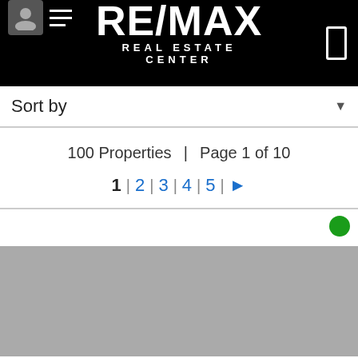RE/MAX REAL ESTATE CENTER
Sort by
100 Properties  |  Page 1 of 10
1 | 2 | 3 | 4 | 5 | »
[Figure (photo): Property listing card with green active status dot and grey placeholder property image]